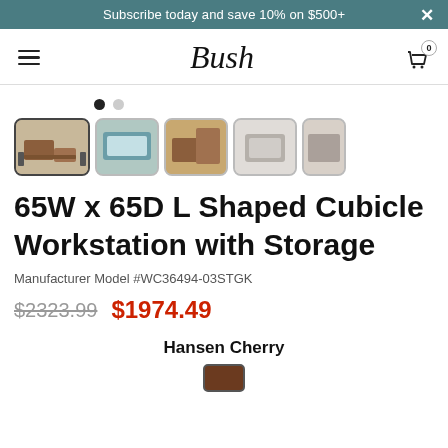Subscribe today and save 10% on $500+
Bush
[Figure (screenshot): Product thumbnail images showing L-shaped cubicle workstation from multiple angles]
65W x 65D L Shaped Cubicle Workstation with Storage
Manufacturer Model #WC36494-03STGK
$2323.99  $1974.49
Hansen Cherry